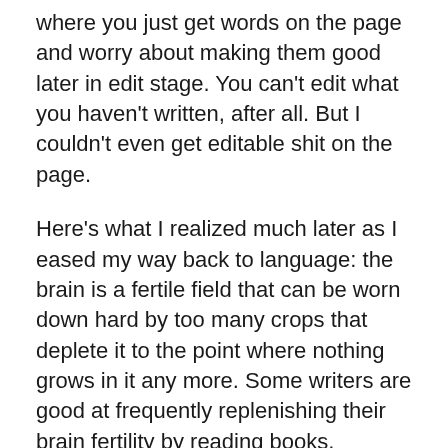where you just get words on the page and worry about making them good later in edit stage. You can't edit what you haven't written, after all. But I couldn't even get editable shit on the page.
Here's what I realized much later as I eased my way back to language: the brain is a fertile field that can be worn down hard by too many crops that deplete it to the point where nothing grows in it any more. Some writers are good at frequently replenishing their brain fertility by reading books, watching movies, walking in nature, traveling, doing other creative things, or taking classes. But sometimes, even if you do this, you may find you need to let the writing fields go fallow. Maybe for a few days. A month. A year. There's no right or wrong to it. There's no